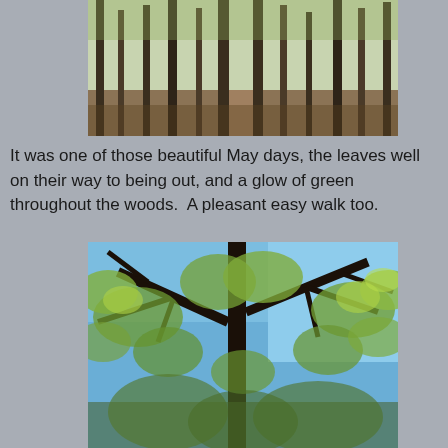[Figure (photo): Forest path with tall bare trees and green spring leaves, with a dirt trail winding through the woods]
It was one of those beautiful May days, the leaves well on their way to being out, and a glow of green throughout the woods.  A pleasant easy walk too.
[Figure (photo): Looking up through tree branches with fresh spring green leaves against a bright blue sky]